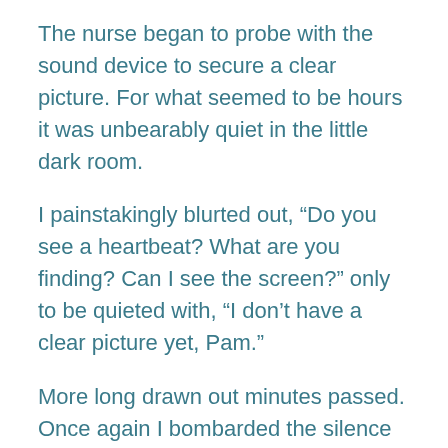The nurse began to probe with the sound device to secure a clear picture. For what seemed to be hours it was unbearably quiet in the little dark room.
I painstakingly blurted out, “Do you see a heartbeat? What are you finding? Can I see the screen?” only to be quieted with, “I don’t have a clear picture yet, Pam.”
More long drawn out minutes passed. Once again I bombarded the silence with, “Can’t you tell my anything? Are you seeing a heartbeat?”
And then the ripping truth came. There was no heartbeat. Our baby was dead. More